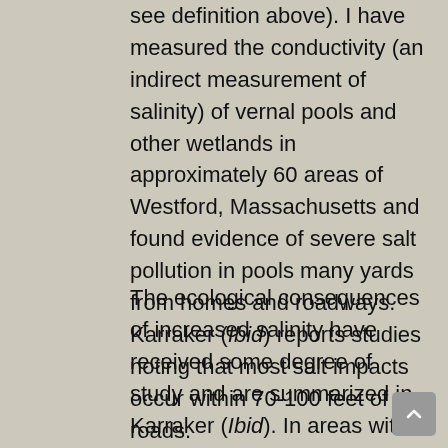wetland protection Act (GLM 2014; see definition above). I have measured the conductivity (an indirect measurement of salinity) of vernal pools and other wetlands in approximately 60 areas of Westford, Massachusetts and found evidence of severe salt pollution in pools many yards from homes and roadways. Karraker (Ibid) reports studies noting that most salt impacts occur within 70-100 feet of roads.
The ecological consequences of increased salinity have received some degree of study and are summarized in Karraker (Ibid). In areas with significant de-icing salt impacts, plant species diversity has been shown to decrease, the abundance of non-native...